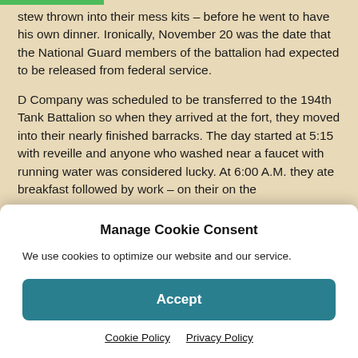stew thrown into their mess kits – before he went to have his own dinner. Ironically, November 20 was the date that the National Guard members of the battalion had expected to be released from federal service.
D Company was scheduled to be transferred to the 194th Tank Battalion so when they arrived at the fort, they moved into their nearly finished barracks. The day started at 5:15 with reveille and anyone who washed near a faucet with running water was considered lucky. At 6:00 A.M. they ate breakfast followed by work – on their on the
Manage Cookie Consent
We use cookies to optimize our website and our service.
Accept
Cookie Policy   Privacy Policy